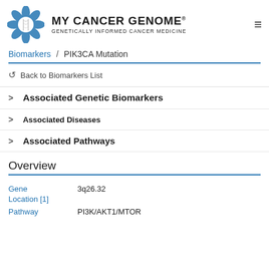[Figure (logo): My Cancer Genome logo — circular DNA helix icon in blue, with text 'MY CANCER GENOME®' and tagline 'GENETICALLY INFORMED CANCER MEDICINE']
MY CANCER GENOME® / GENETICALLY INFORMED CANCER MEDICINE
Biomarkers / PIK3CA Mutation
Back to Biomarkers List
Associated Genetic Biomarkers
Associated Diseases
Associated Pathways
Overview
| Field | Value |
| --- | --- |
| Gene Location [1] | 3q26.32 |
| Pathway | PI3K/AKT1/MTOR |